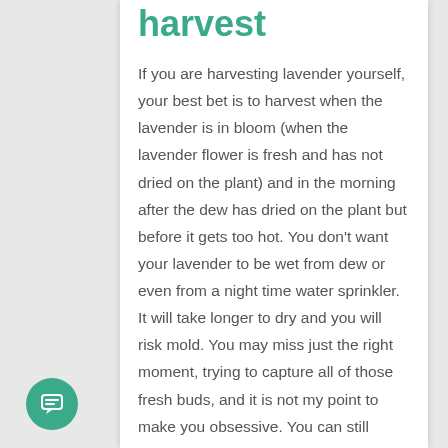harvest
If you are harvesting lavender yourself, your best bet is to harvest when the lavender is in bloom (when the lavender flower is fresh and has not dried on the plant) and in the morning after the dew has dried on the plant but before it gets too hot. You don't want your lavender to be wet from dew or even from a night time water sprinkler. It will take longer to dry and you will risk mold. You may miss just the right moment, trying to capture all of those fresh buds, and it is not my point to make you obsessive. You can still harvest, but